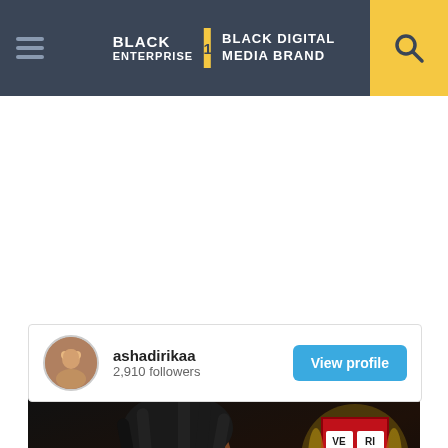BLACK ENTERPRISE THE #1 BLACK DIGITAL MEDIA BRAND
[Figure (screenshot): Instagram widget showing user 'ashadirikaa' with 2,910 followers and a View profile button]
[Figure (photo): Photo of a young Black woman with braids, Harvard Veritas shield logo visible, and a 'THE PERSPECTIVE SEE WHAT YOU'RE MISSING / READ MORE' banner at bottom]